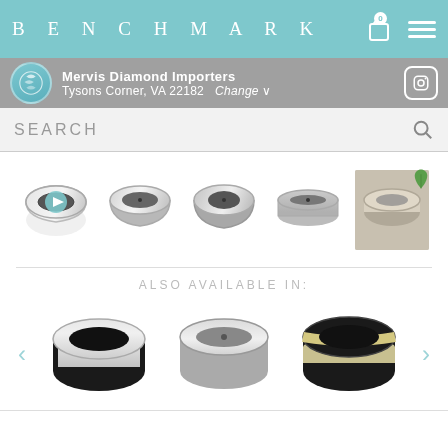BENCHMARK
Mervis Diamond Importers
Tysons Corner, VA 22182   Change ∨
SEARCH
[Figure (photo): Five thumbnails of a men's silver/titanium wedding band ring shown from various angles, with a play button on the first thumbnail and a full photo in the last slot with a green leaf eco icon overlay]
ALSO AVAILABLE IN:
[Figure (photo): Three men's wedding band ring variants shown side by side: black/silver, silver/platinum, and black/gold stripe, with left and right navigation arrows]